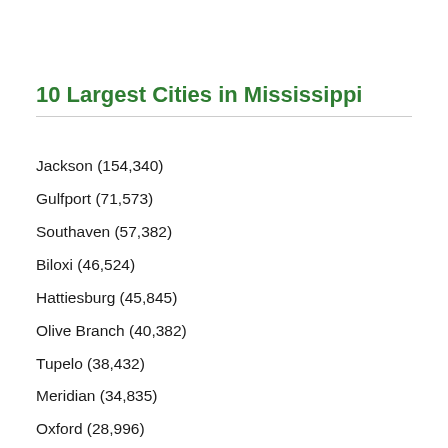10 Largest Cities in Mississippi
Jackson (154,340)
Gulfport (71,573)
Southaven (57,382)
Biloxi (46,524)
Hattiesburg (45,845)
Olive Branch (40,382)
Tupelo (38,432)
Meridian (34,835)
Oxford (28,996)
Greenville (27,605)